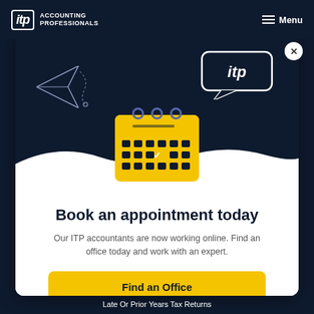itp ACCOUNTING PROFESSIONALS   ≡ Menu
[Figure (screenshot): Modal popup with dark navy top section containing a paper airplane, itp speech bubble logo, and a yellow calendar icon overlapping the wave divider, followed by a white lower section with booking content.]
Book an appointment today
Our ITP accountants are now working online. Find an office today and work with an expert.
Find an Office
Late Or Prior Years Tax Returns